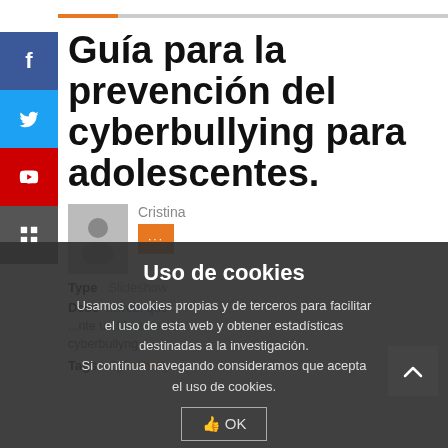Guía para la prevención del cyberbullying para adolescentes.
Cristina
Type   Slideshow
Desc  ...web, que ...nte u...ble ante el cyberbullyng.
Tags  Cyberbullyng
Uso de cookies
Usamos cookies propias y de terceros para facilitar el uso de esta web y obtener estadísticas destinadas a la investigación.
Si continua navegando consideramos que acepta el uso de cookies.